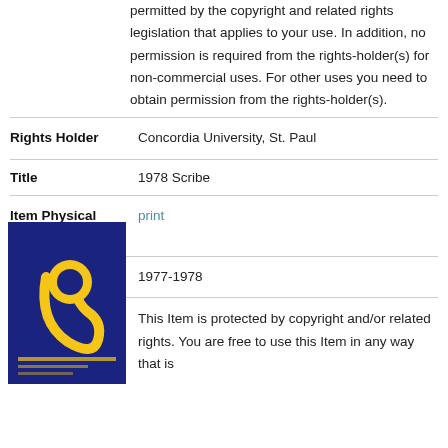permitted by the copyright and related rights legislation that applies to your use. In addition, no permission is required from the rights-holder(s) for non-commercial uses. For other uses you need to obtain permission from the rights-holder(s).
| Field | Value |
| --- | --- |
| Rights Holder | Concordia University, St. Paul |
| Title | 1978 Scribe |
| Item Physical Format | print |
| Date of Creation | 1977-1978 |
| Rights Statement | This Item is protected by copyright and/or related rights. You are free to use this Item in any way that is |